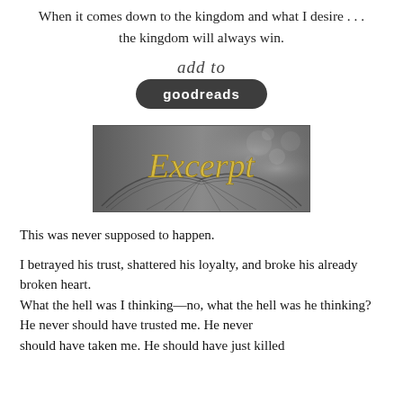When it comes down to the kingdom and what I desire . . . the kingdom will always win.
[Figure (logo): Add to Goodreads button with cursive 'add to' text above a dark rounded-rectangle button reading 'goodreads' in white bold text]
[Figure (illustration): Greyscale banner image with an open book and bokeh background, featuring golden cursive text reading 'Excerpt']
This was never supposed to happen.
I betrayed his trust, shattered his loyalty, and broke his already broken heart. What the hell was I thinking—no, what the hell was he thinking? He never should have trusted me. He never should have taken me. He should have just killed